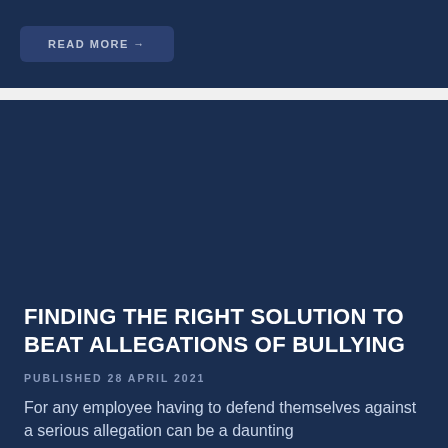[Figure (screenshot): READ MORE button on dark navy background]
FINDING THE RIGHT SOLUTION TO BEAT ALLEGATIONS OF BULLYING
PUBLISHED 28 APRIL 2021
For any employee having to defend themselves against a serious allegation can be a daunting